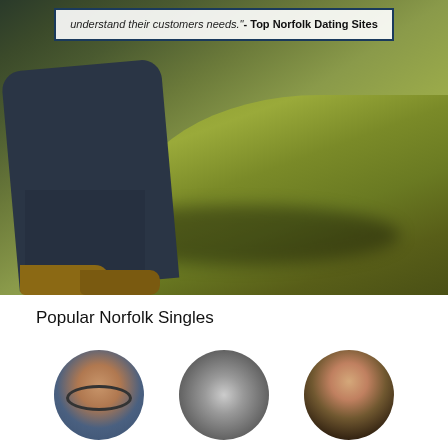[Figure (photo): Person crouching on grass outdoors, wearing dark jeans and brown boots, with green grass and sunlight in background]
understand their customers needs."- Top Norfolk Dating Sites
Popular Norfolk Singles
[Figure (photo): Circular profile photo of a woman wearing glasses, smiling]
[Figure (photo): Circular black and white profile photo of two people together]
[Figure (photo): Circular profile photo of a woman, selfie style, warm lighting]